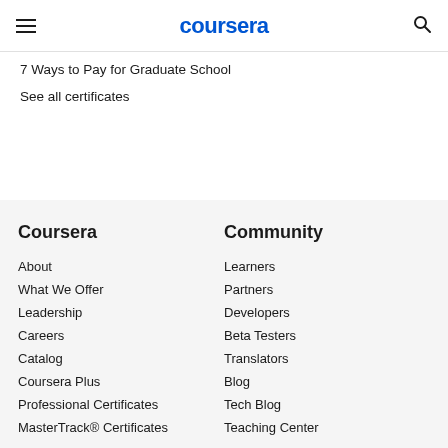coursera
7 Ways to Pay for Graduate School
See all certificates
Coursera
About
What We Offer
Leadership
Careers
Catalog
Coursera Plus
Professional Certificates
MasterTrack® Certificates
Community
Learners
Partners
Developers
Beta Testers
Translators
Blog
Tech Blog
Teaching Center